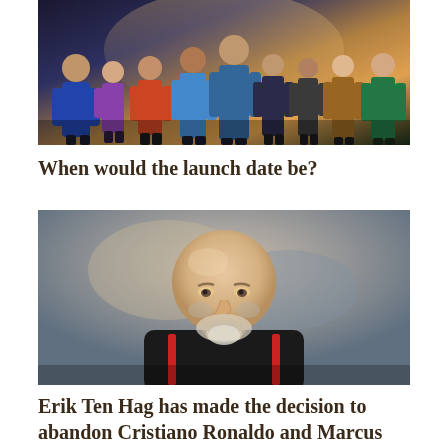[Figure (photo): Group photo of superhero characters from a Marvel movie (Eternals), multiple costumed characters posed against a dramatic sky background]
When would the launch date be?
[Figure (photo): Portrait photo of Erik Ten Hag, bald man with beard wearing a black jacket with red stripes, blurred stadium background]
Erik Ten Hag has made the decision to abandon Cristiano Ronaldo and Marcus Rashford for